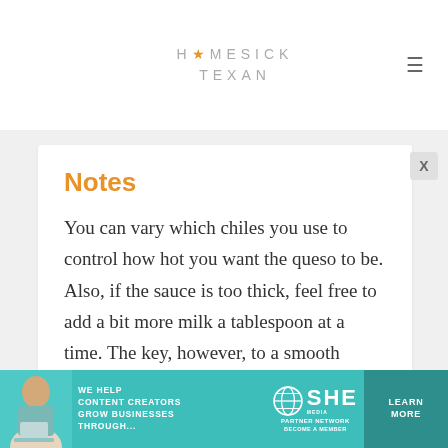HOMESICK TEXAN
Notes
You can vary which chiles you use to control how hot you want the queso to be. Also, if the sauce is too thick, feel free to add a bit more milk a tablespoon at a time. The key, however, to a smooth sauce is adding the cheese very slowly and not adding any more cheese until the previous addition is completely integrated into the sauce. Lastly, it's very important to
[Figure (infographic): SHE Media advertisement banner: 'We help content creators grow businesses through... SHE Partner Network. Learn More. Become a Member.']